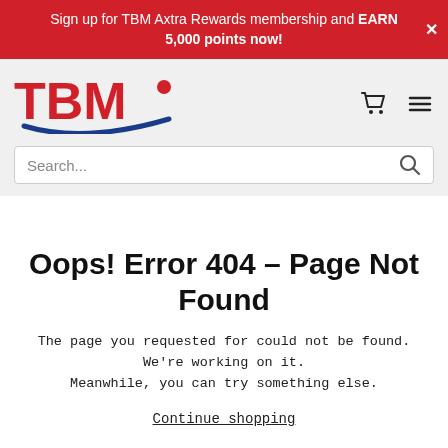Sign up for TBM Axtra Rewards membership and EARN 5,000 points now!
[Figure (logo): TBM logo with red text and blue swoosh]
Search...
Oops! Error 404 - Page Not Found
The page you requested for could not be found. We're working on it. Meanwhile, you can try something else.
Continue shopping